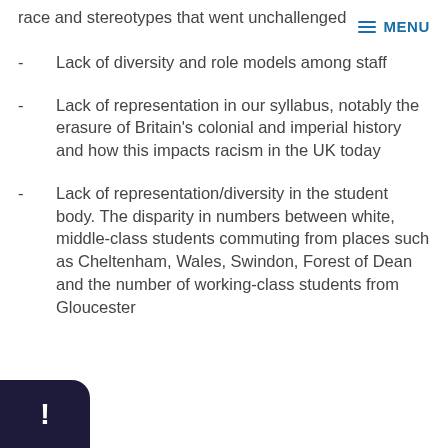race and stereotypes that went unchallenged
MENU
Lack of diversity and role models among staff
Lack of representation in our syllabus, notably the erasure of Britain's colonial and imperial history and how this impacts racism in the UK today
Lack of representation/diversity in the student body. The disparity in numbers between white, middle-class students commuting from places such as Cheltenham, Wales, Swindon, Forest of Dean and the number of working-class students from Gloucester